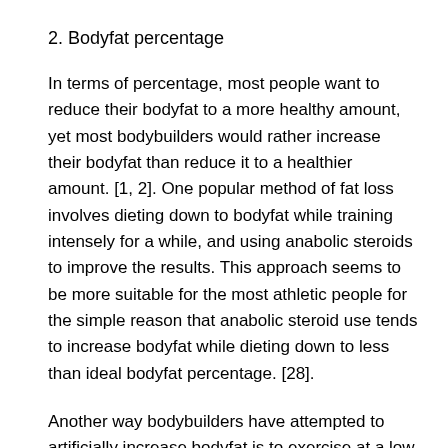2. Bodyfat percentage
In terms of percentage, most people want to reduce their bodyfat to a more healthy amount, yet most bodybuilders would rather increase their bodyfat than reduce it to a healthier amount. [1, 2]. One popular method of fat loss involves dieting down to bodyfat while training intensely for a while, and using anabolic steroids to improve the results. This approach seems to be more suitable for the most athletic people for the simple reason that anabolic steroid use tends to increase bodyfat while dieting down to less than ideal bodyfat percentage. [28].
Another way bodybuilders have attempted to artificially increase bodyfat is to exercise at a low intensity when it is hard. Then using a larger number of volume and intensity exercises, they are able to maintain and